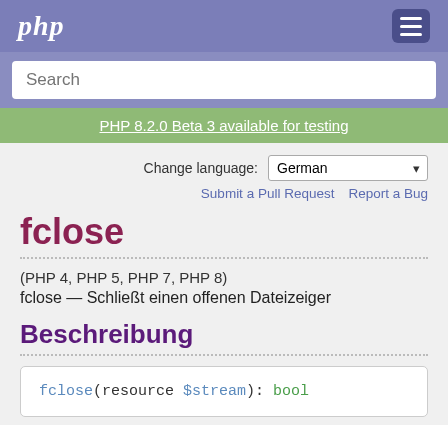php
Search
PHP 8.2.0 Beta 3 available for testing
Change language: German
Submit a Pull Request   Report a Bug
fclose
(PHP 4, PHP 5, PHP 7, PHP 8)
fclose — Schließt einen offenen Dateizeiger
Beschreibung